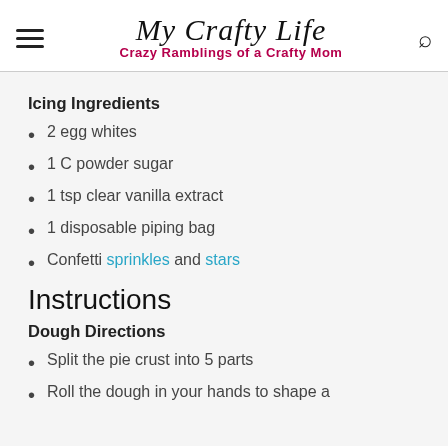My Crafty Life — Crazy Ramblings of a Crafty Mom
Icing Ingredients
2 egg whites
1 C powder sugar
1 tsp clear vanilla extract
1 disposable piping bag
Confetti sprinkles and stars
Instructions
Dough Directions
Split the pie crust into 5 parts
Roll the dough in your hands to shape a